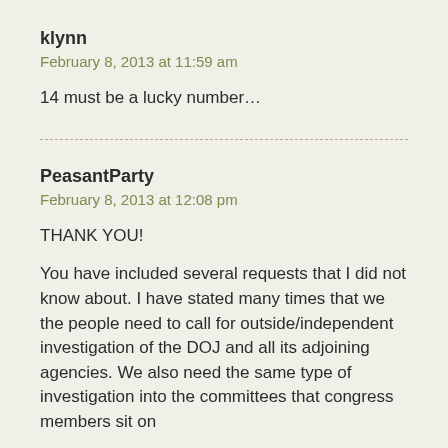klynn
February 8, 2013 at 11:59 am
14 must be a lucky number…
PeasantParty
February 8, 2013 at 12:08 pm
THANK YOU!

You have included several requests that I did not know about. I have stated many times that we the people need to call for outside/independent investigation of the DOJ and all its adjoining agencies. We also need the same type of investigation into the committees that congress members sit on